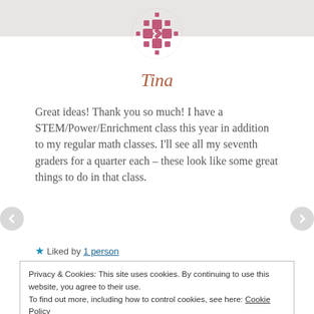[Figure (logo): Decorative geometric/diamond pattern logo icon in pink/mauve color, circular arrangement of squares and diamond shapes]
Tina
Great ideas! Thank you so much! I have a STEM/Power/Enrichment class this year in addition to my regular math classes. I'll see all my seventh graders for a quarter each – these look like some great things to do in that class.
Liked by 1 person
Privacy & Cookies: This site uses cookies. By continuing to use this website, you agree to their use.
To find out more, including how to control cookies, see here: Cookie Policy
Close and accept